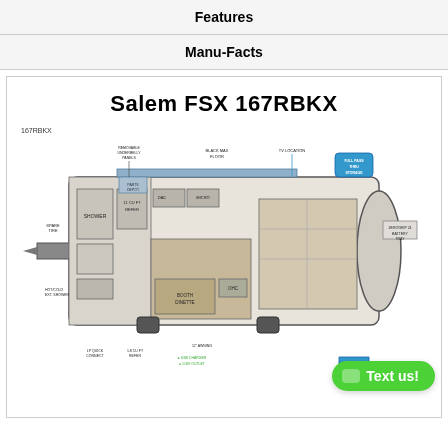Features
Manu-Facts
Salem FSX 167RBKX
[Figure (engineering-diagram): Floor plan diagram of the Salem FSX 167RBKX travel trailer showing interior layout with labels for: Removable Underbelly Panels, Black Max Floor, TV Location, Full Pass Thru Storage, Spare Tire, Shower, 11 Cu Ft Refer, DAC, Micro, ZeroGrip 24 Battery Tray, Parts Depot, Booth Dinette, OHC, 12" Awning, LP Quick Connect, 1.8 Cu Ft Refer, USB Charger, 110V Outlet, Hot/Cold Ext. Shower, Full Pass Thru Storage]
Text us!